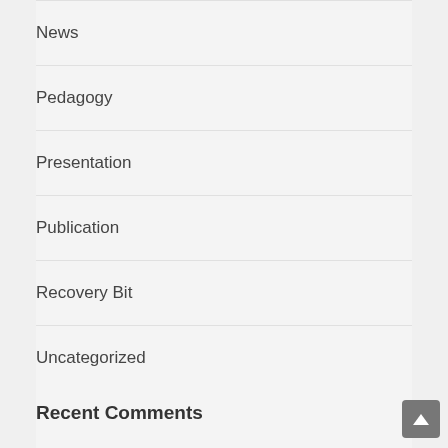News
Pedagogy
Presentation
Publication
Recovery Bit
Uncategorized
Recent Comments